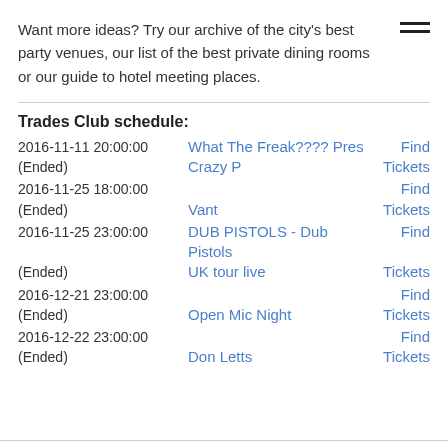Want more ideas? Try our archive of the city's best party venues, our list of the best private dining rooms or our guide to hotel meeting places.
Trades Club schedule:
2016-11-11 20:00:00 (Ended) What The Freak???? Pres Crazy P Find Tickets
2016-11-25 18:00:00 (Ended) Vant Find Tickets
2016-11-25 23:00:00 (Ended) DUB PISTOLS - Dub Pistols UK tour live Find Tickets
2016-12-21 23:00:00 (Ended) Open Mic Night Find Tickets
2016-12-22 23:00:00 (Ended) Don Letts Find Tickets